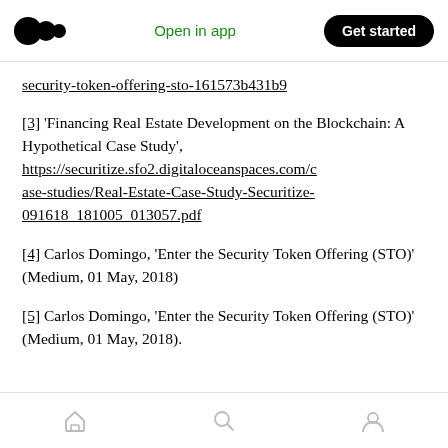Medium app header with logo, Open in app, Get started
security-token-offering-sto-161573b431b9
[3] ‘Financing Real Estate Development on the Blockchain: A Hypothetical Case Study’, https://securitize.sfo2.digitaloceanspaces.com/case-studies/Real-Estate-Case-Study-Securitize-091618_181005_013057.pdf
[4] Carlos Domingo, ‘Enter the Security Token Offering (STO)’ (Medium, 01 May, 2018)
[5] Carlos Domingo, ‘Enter the Security Token Offering (STO)’ (Medium, 01 May, 2018).
Home | Search | Profile